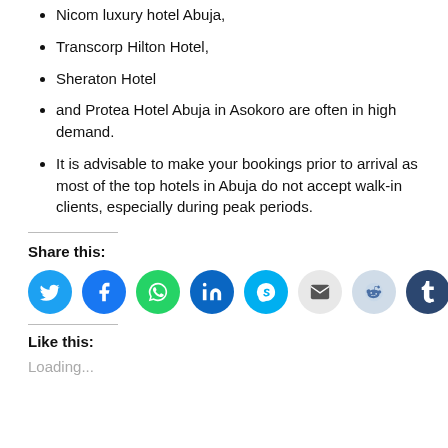Nicom luxury hotel Abuja,
Transcorp Hilton Hotel,
Sheraton Hotel
and Protea Hotel Abuja in Asokoro are often in high demand.
It is advisable to make your bookings prior to arrival as most of the top hotels in Abuja do not accept walk-in clients, especially during peak periods.
Share this:
[Figure (infographic): Social sharing icons: Twitter, Facebook, WhatsApp, LinkedIn, Skype, Email, Reddit, Tumblr]
Like this:
Loading...